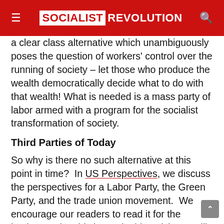SOCIALIST REVOLUTION
a clear class alternative which unambiguously poses the question of workers' control over the running of society – let those who produce the wealth democratically decide what to do with that wealth! What is needed is a mass party of labor armed with a program for the socialist transformation of society.
Third Parties of Today
So why is there no such alternative at this point in time?  In US Perspectives, we discuss the perspectives for a Labor Party, the Green Party, and the trade union movement.  We encourage our readers to read it for the background to this issue; in this article we will look at how third-parties fared in